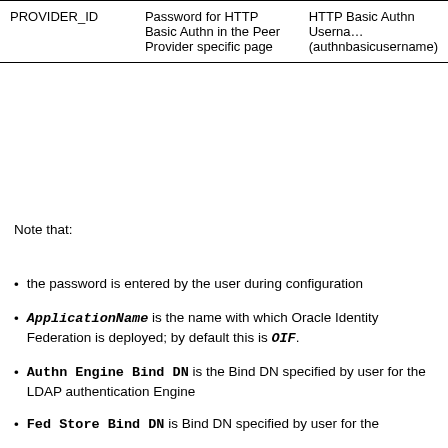| PROVIDER_ID | Password for HTTP Basic Authn in the Peer Provider specific page | HTTP Basic Authn Username (authnbasicusername) |
| --- | --- | --- |
| PROVIDER_ID | Password for HTTP Basic Authn in the Peer Provider specific page | HTTP Basic Authn Username (authnbasicusername) |
Note that:
the password is entered by the user during configuration
ApplicationName is the name with which Oracle Identity Federation is deployed; by default this is OIF.
Authn Engine Bind DN is the Bind DN specified by user for the LDAP authentication Engine
Fed Store Bind DN is Bind DN specified by user for the